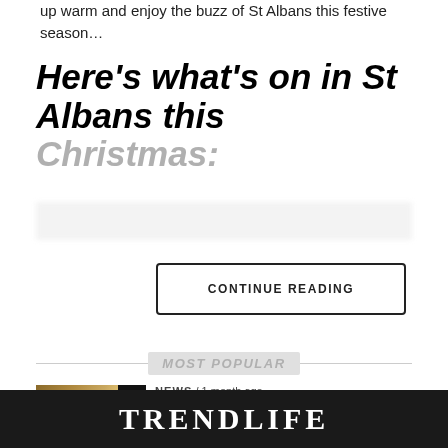up warm and enjoy the buzz of St Albans this festive season…
Here's what's on in St Albans this Christmas:
CONTINUE READING
MOST POPULAR
NEWS / 1 month ago
Horwood House Unveils New Manor Suites In Grade-II Manor House
TRENDLIFE